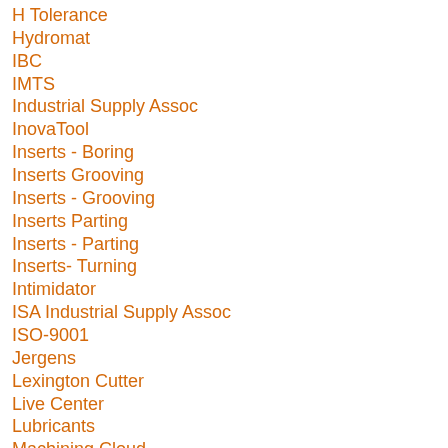H Tolerance
Hydromat
IBC
IMTS
Industrial Supply Assoc
InovaTool
Inserts - Boring
Inserts Grooving
Inserts - Grooving
Inserts Parting
Inserts - Parting
Inserts- Turning
Intimidator
ISA Industrial Supply Assoc
ISO-9001
Jergens
Lexington Cutter
Live Center
Lubricants
Machining Cloud
Made In USA